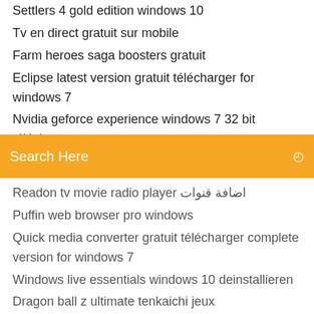Settlers 4 gold edition windows 10
Tv en direct gratuit sur mobile
Farm heroes saga boosters gratuit
Eclipse latest version gratuit télécharger for windows 7
Nvidia geforce experience windows 7 32 bit télécharger
Mise a jour adobe flash player 11
[Figure (screenshot): Orange search bar with text 'Search Here' and a small icon on the right]
Readon tv movie radio player اضافة قنوات
Puffin web browser pro windows
Quick media converter gratuit télécharger complete version for windows 7
Windows live essentials windows 10 deinstallieren
Dragon ball z ultimate tenkaichi jeux
Telecharger directx 10 windows 7 32 bits
Marvel heroes 2020 pc game télécharger
Télécharger windows live mail gratuit
Descargar java jdk 64 bits windows 8.1